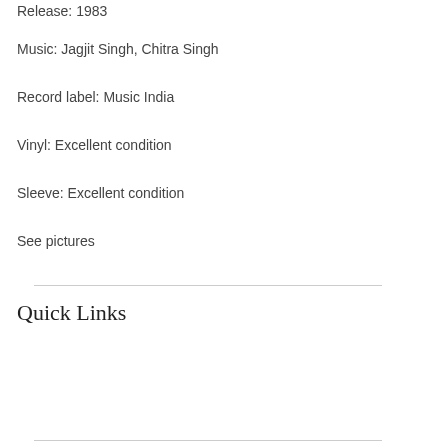Release: 1983
Music: Jagjit Singh, Chitra Singh
Record label: Music India
Vinyl: Excellent condition
Sleeve: Excellent condition
See pictures
Quick Links